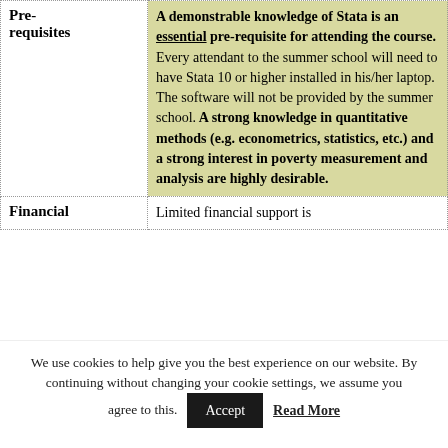|  |  |
| --- | --- |
| Pre-requisites | A demonstrable knowledge of Stata is an essential pre-requisite for attending the course. Every attendant to the summer school will need to have Stata 10 or higher installed in his/her laptop. The software will not be provided by the summer school. A strong knowledge in quantitative methods (e.g. econometrics, statistics, etc.) and a strong interest in poverty measurement and analysis are highly desirable. |
| Financial | Limited financial support is |
We use cookies to help give you the best experience on our website. By continuing without changing your cookie settings, we assume you agree to this. Accept Read More